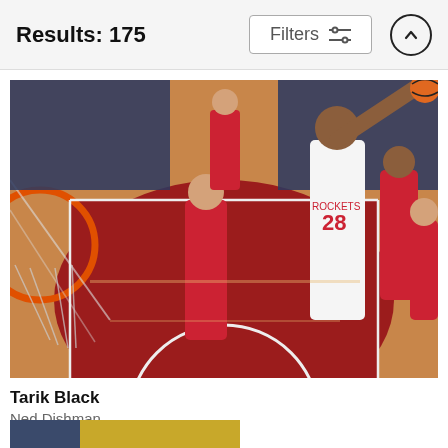Results: 175
[Figure (photo): NBA basketball action photo showing Tarik Black (#28, Houston Rockets, white jersey) reaching up toward the basket while a Washington Wizards player in red jersey defends, with a basketball hoop visible at left, taken from above court level showing the red painted lane area, with crowd in background.]
Tarik Black
Ned Dishman
$9.62
[Figure (photo): Partial view of another sports photo at bottom, showing blue and gold/yellow colors (possibly a Golden State Warriors game).]